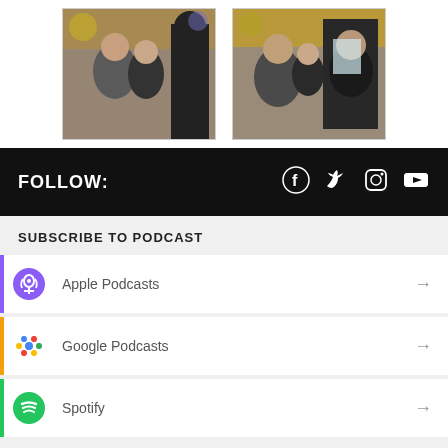[Figure (photo): Two side-by-side photos of people standing and talking indoors, in a venue with colorful wall art]
FOLLOW:
[Figure (infographic): Social media icons: Facebook, Twitter, Instagram, YouTube]
SUBSCRIBE TO PODCAST
Apple Podcasts
Google Podcasts
Spotify